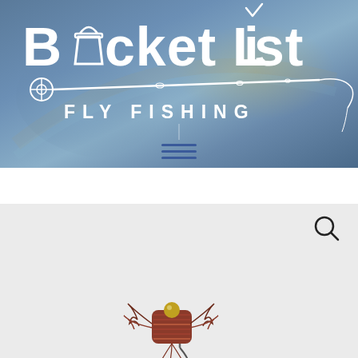[Figure (screenshot): Bucket List Fly Fishing website header with logo on blue-grey photographic background. Logo shows 'Bucket List' in large white bold text with a bucket replacing the 'u', followed by a fly fishing rod graphic, then 'FLY FISHING' in white spaced capitals. A hamburger menu icon appears below in navy blue.]
[Figure (screenshot): Lower portion of webpage showing a light gray product/content area with a search icon (magnifying glass) in the top right corner, and a partially visible product image at the bottom (appears to be a fly fishing fly/lure in reddish-brown colors).]